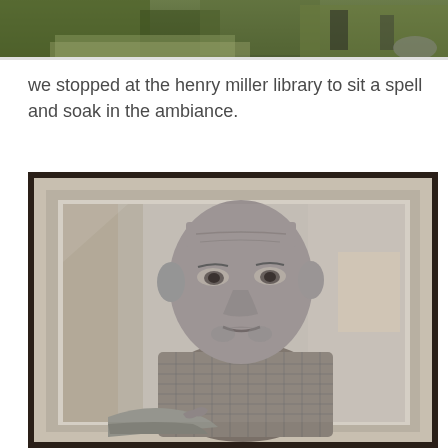[Figure (photo): Top portion of an outdoor photo showing greenery and a person in the background, partially cropped]
we stopped at the henry miller library to sit a spell and soak in the ambiance.
[Figure (photo): A framed black and white photograph of an elderly man (Henry Miller) wearing a checkered shirt, seated and looking at the camera, displayed behind glass in a dark frame]